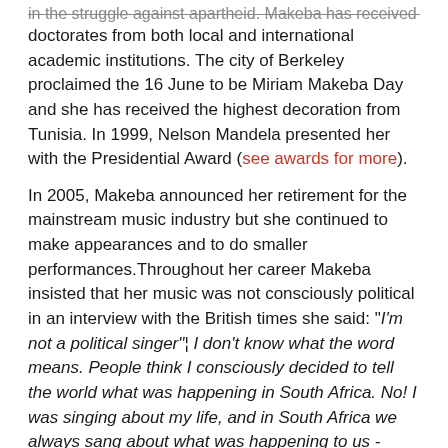in the struggle against apartheid. Makeba has received honorary doctorates from both local and international academic institutions. The city of Berkeley proclaimed the 16 June to be Miriam Makeba Day and she has received the highest decoration from Tunisia. In 1999, Nelson Mandela presented her with the Presidential Award (see awards for more).
In 2005, Makeba announced her retirement for the mainstream music industry but she continued to make appearances and to do smaller performances.Throughout her career Makeba insisted that her music was not consciously political in an interview with the British times she said: "I'm not a political singer"¦ I don't know what the word means. People think I consciously decided to tell the world what was happening in South Africa. No! I was singing about my life, and in South Africa we always sang about what was happening to us - especially the things that hurt us."
Makeba continued her humanitarian work through her Zenzile Miriam Makeba Foundation, including the Miriam Makeba Rehabilitation Centre for abused girls. She also supported campaigns against drug abuse and HIV/Aids awareness. Furthermore she appeared as President Mbeki's Goodwill Ambassador to the UN. Makeba died in 2008, at the age 76, after